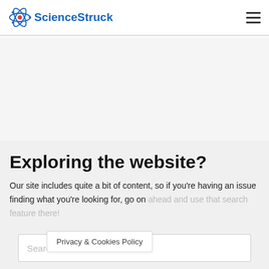[Figure (logo): ScienceStruck logo with atom icon and blue text]
Exploring the website?
Our site includes quite a bit of content, so if you're having an issue finding what you're looking for, go on ahead and use that search feature there!
Privacy & Cookies Policy